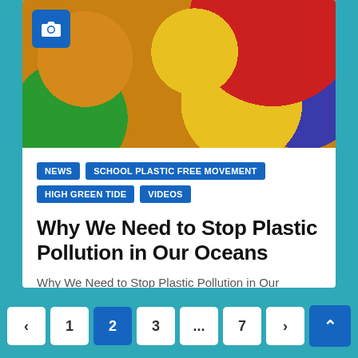[Figure (photo): Colorful plastic LEGO-like building bricks piled together in yellow, red, green, orange colors, with a blue camera icon badge in the top-left corner]
NEWS
SCHOOL PLASTIC FREE MOVEMENT
HIGH GREEN TIDE
VIDEOS
Why We Need to Stop Plastic Pollution in Our Oceans
Why We Need to Stop Plastic Pollution in Our Oceans
< 1 2 3 ... 7 >